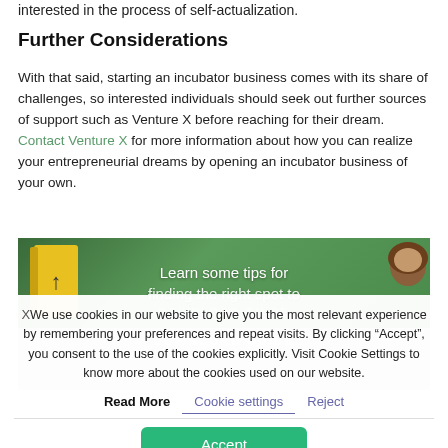interested in the process of self-actualization.
Further Considerations
With that said, starting an incubator business comes with its share of challenges, so interested individuals should seek out further sources of support such as Venture X before reaching for their dream. Contact Venture X for more information about how you can realize your entrepreneurial dreams by opening an incubator business of your own.
[Figure (photo): Promotional image with text 'Learn some tips for finding the right spot to' overlaid on a green background with a book and a person, and a DOWNLOAD GUIDE watermark.]
X We use cookies in our website to give you the most relevant experience by remembering your preferences and repeat visits. By clicking "Accept", you consent to the use of the cookies explicitly. Visit Cookie Settings to know more about the cookies used on our website.
Read More   Cookie settings   Reject
Accept